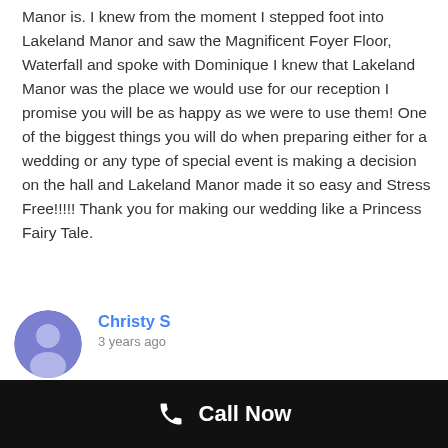Manor is. I knew from the moment I stepped foot into Lakeland Manor and saw the Magnificent Foyer Floor, Waterfall and spoke with Dominique I knew that Lakeland Manor was the place we would use for our reception I promise you will be as happy as we were to use them! One of the biggest things you will do when preparing either for a wedding or any type of special event is making a decision on the hall and Lakeland Manor made it so easy and Stress Free!!!!! Thank you for making our wedding like a Princess Fairy Tale.
Christy S
3 years ago
I had my wedding there last year and I just recently had my baby shower and OMG IT WAS AMAZING!!!!! The owner and chef were so kind. I requested to have a gluten free meal and a gluten free dessert for myself and they accommodated me so well! I had white tablecloths
Call Now